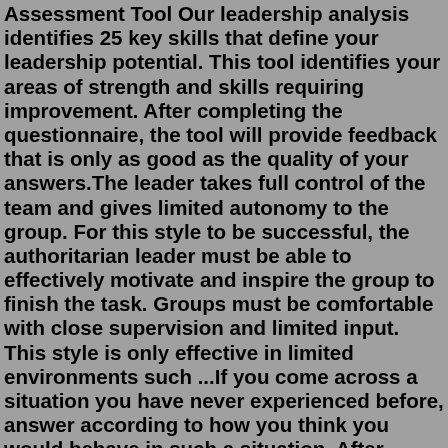Assessment Tool Our leadership analysis identifies 25 key skills that define your leadership potential. This tool identifies your areas of strength and skills requiring improvement. After completing the questionnaire, the tool will provide feedback that is only as good as the quality of your answers.The leader takes full control of the team and gives limited autonomy to the group. For this style to be successful, the authoritarian leader must be able to effectively motivate and inspire the group to finish the task. Groups must be comfortable with close supervision and limited input. This style is only effective in limited environments such ...If you come across a situation you have never experienced before, answer according to how you think you would behave in such a situation. After finishing this test you will receive a FREE snapshot ...Free Leadership Assessment Tool Our leadership analysis identifies 25 key skills that define your leadership potential. This tool identifies your areas of strength and skills requiring improvement. After completing the questionnaire, the